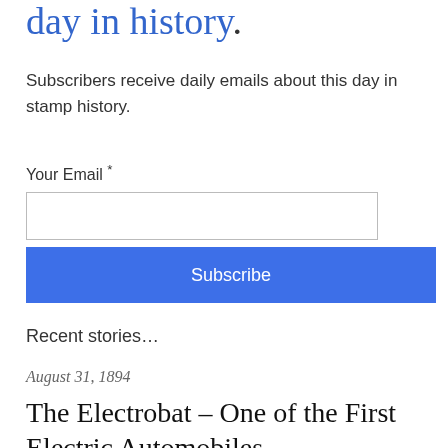day in history.
Subscribers receive daily emails about this day in stamp history.
Your Email *
Subscribe
Recent stories…
August 31, 1894
The Electrobat – One of the First Electric Automobiles